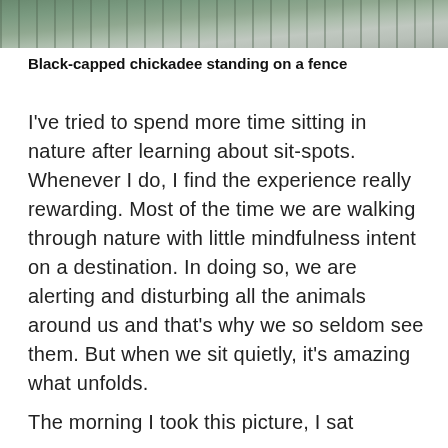[Figure (photo): Partial view of a black-capped chickadee on a fence, showing blurred natural background with green foliage and water/grey tones]
Black-capped chickadee standing on a fence
I've tried to spend more time sitting in nature after learning about sit-spots. Whenever I do, I find the experience really rewarding. Most of the time we are walking through nature with little mindfulness intent on a destination. In doing so, we are alerting and disturbing all the animals around us and that's why we so seldom see them. But when we sit quietly, it's amazing what unfolds.
The morning I took this picture, I sat